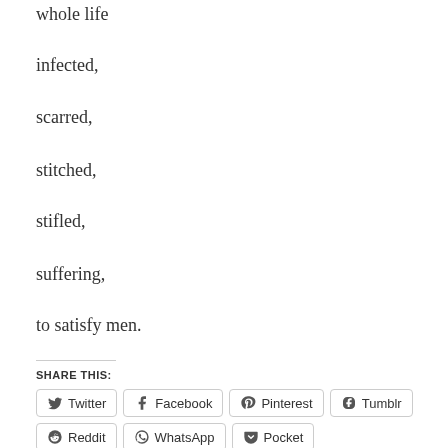whole life
infected,
scarred,
stitched,
stifled,
suffering,
to satisfy men.
SHARE THIS:
Twitter | Facebook | Pinterest | Tumblr | Reddit | WhatsApp | Pocket